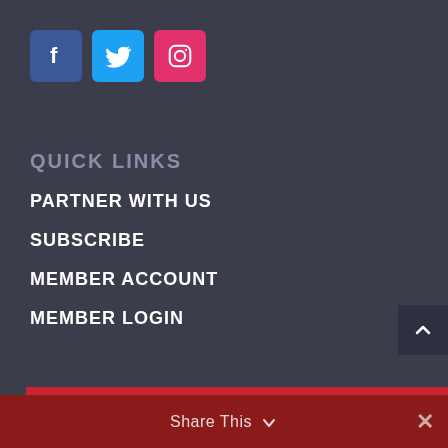[Figure (logo): Social media icons: Facebook (blue square), Twitter (light blue square), Instagram (pink/red square)]
QUICK LINKS
PARTNER WITH US
SUBSCRIBE
MEMBER ACCOUNT
MEMBER LOGIN
Share This ∨